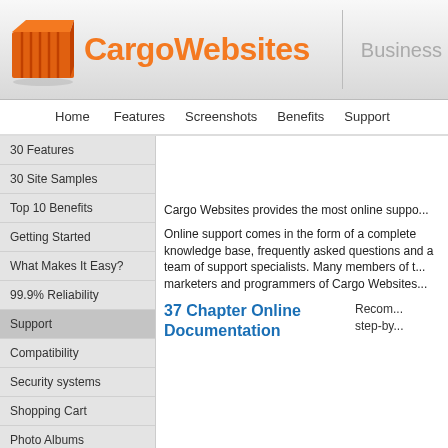CargoWebsites — Business
Home
Features
Screenshots
Benefits
Support
30 Features
30 Site Samples
Top 10 Benefits
Getting Started
What Makes It Easy?
99.9% Reliability
Support
Compatibility
Security systems
Shopping Cart
Photo Albums
Links Page
500 pages, photos, products
Cargo Websites provides the most online suppo...
Online support comes in the form of a complete knowledge base, frequently asked questions and a team of support specialists. Many members of the marketers and programmers of Cargo Websites...
37 Chapter Online Documentation
Recom... step-by...